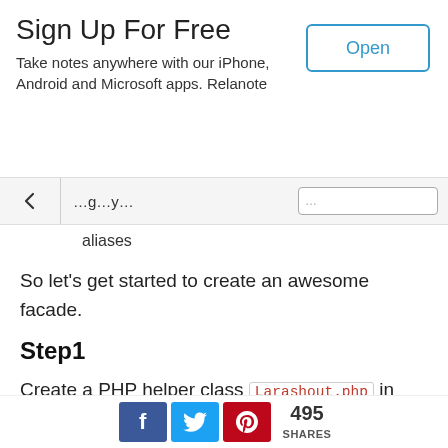Sign Up For Free
Take notes anywhere with our iPhone, Android and Microsoft apps. Relanote
aliases
So let's get started to create an awesome facade.
Step1
Create a PHP helper class Larashout.php in App\Larashout. You can create a folder of your own choice instead of Larashout.
[Figure (screenshot): Code block showing: namespace App\Larashout;]
495 SHARES